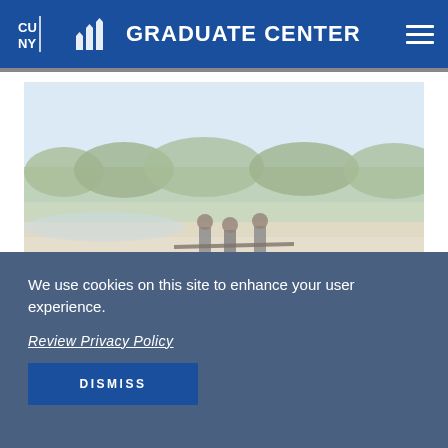CUNY Graduate Center
[Figure (photo): Photograph of researchers or workers on a beach/sandy area near mangroves, carrying equipment. Blue overlay bar at bottom.]
We use cookies on this site to enhance your user experience.
Review Privacy Policy
DISMISS